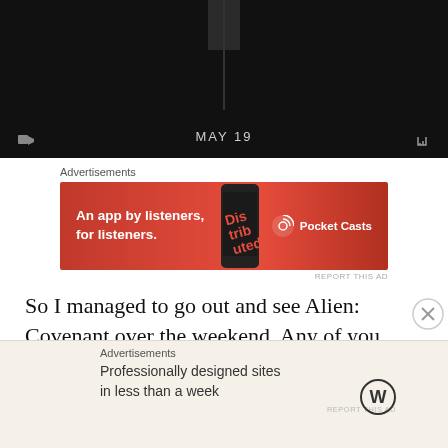[Figure (screenshot): Dark video player thumbnail with 'MAY 19' text centered at the bottom, with playback control icons]
Advertisements
[Figure (screenshot): Pocket Casts advertisement banner: red background, text 'An app by listeners, for listeners.' with Pocket Casts logo and phone image]
REPORT THIS AD
So I managed to go out and see Alien: Covenant over the weekend. Any of you who follow the site know that Alien: Covenant was one of my most anticipated films of
Advertisements
[Figure (screenshot): WordPress advertisement: cream/tan background, text 'Professionally designed sites in less than a week' with WordPress logo]
REPORT THIS AD